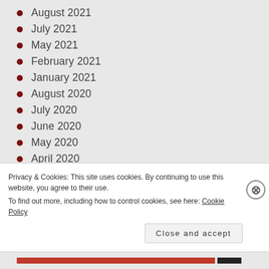August 2021
July 2021
May 2021
February 2021
January 2021
August 2020
July 2020
June 2020
May 2020
April 2020
March 2020
Privacy & Cookies: This site uses cookies. By continuing to use this website, you agree to their use.
To find out more, including how to control cookies, see here: Cookie Policy
Close and accept